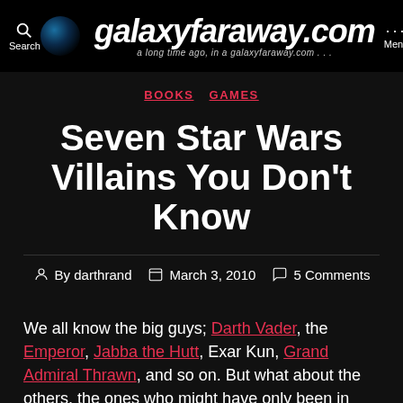galaxyfaraway.com — a long time ago, in a galaxyfaraway.com...
BOOKS   GAMES
Seven Star Wars Villains You Don't Know
By darthrand   March 3, 2010   5 Comments
We all know the big guys; Darth Vader, the Emperor, Jabba the Hutt, Exar Kun, Grand Admiral Thrawn, and so on. But what about the others, the ones who might have only been in one book, the ones few know or think